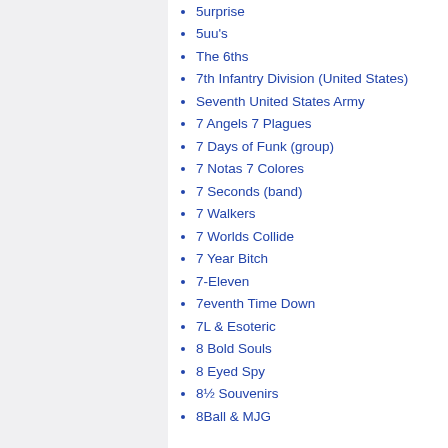5urprise
5uu's
The 6ths
7th Infantry Division (United States)
Seventh United States Army
7 Angels 7 Plagues
7 Days of Funk (group)
7 Notas 7 Colores
7 Seconds (band)
7 Walkers
7 Worlds Collide
7 Year Bitch
7-Eleven
7eventh Time Down
7L & Esoteric
8 Bold Souls
8 Eyed Spy
8½ Souvenirs
8Ball & MJG